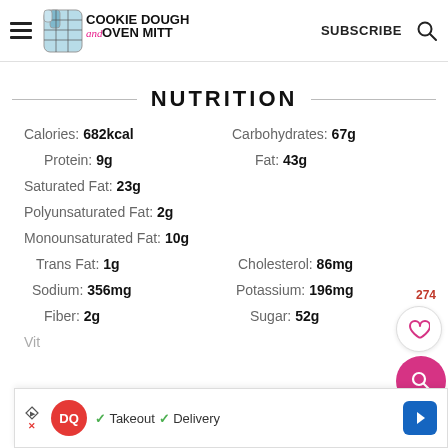Cookie Dough and Oven Mitt — SUBSCRIBE
NUTRITION
| Nutrient | Value |
| --- | --- |
| Calories | 682kcal |
| Carbohydrates | 67g |
| Protein | 9g |
| Fat | 43g |
| Saturated Fat | 23g |
| Polyunsaturated Fat | 2g |
| Monounsaturated Fat | 10g |
| Trans Fat | 1g |
| Cholesterol | 86mg |
| Sodium | 356mg |
| Potassium | 196mg |
| Fiber | 2g |
| Sugar | 52g |